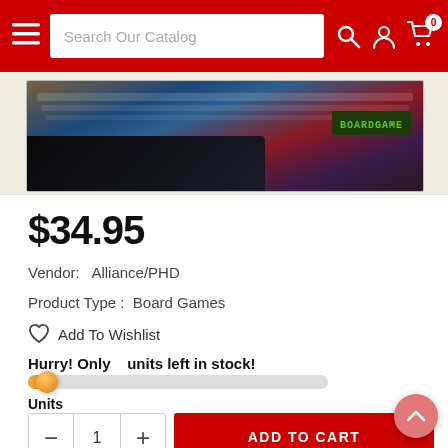[Figure (screenshot): Red navigation header bar with hamburger menu, search box labeled 'Search Our Catalog', search icon, user account icon, and shopping cart icon with badge showing 0]
[Figure (photo): Partial view of a board game box edge showing colorful artwork with blue and red tones and card-like elements]
$34.95
Vendor:  Alliance/PHD
Product Type :  Board Games
Add To Wishlist
Hurry! Only   units left in stock!
Units
ADD TO CART